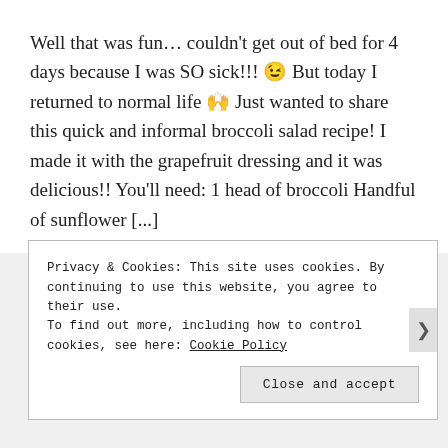Well that was fun... couldn't get out of bed for 4 days because I was SO sick!!! 😉 But today I returned to normal life 🙌 Just wanted to share this quick and informal broccoli salad recipe! I made it with the grapefruit dressing and it was delicious!! You'll need: 1 head of broccoli Handful of sunflower [...]
Privacy & Cookies: This site uses cookies. By continuing to use this website, you agree to their use. To find out more, including how to control cookies, see here: Cookie Policy